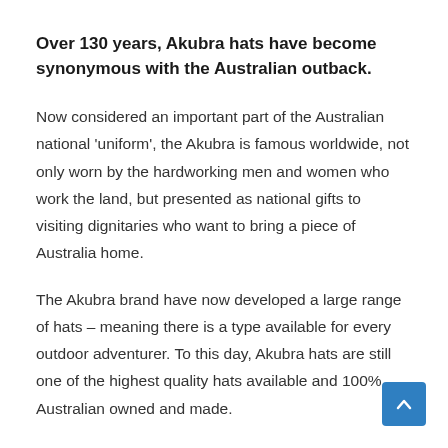Over 130 years, Akubra hats have become synonymous with the Australian outback.
Now considered an important part of the Australian national 'uniform', the Akubra is famous worldwide, not only worn by the hardworking men and women who work the land, but presented as national gifts to visiting dignitaries who want to bring a piece of Australia home.
The Akubra brand have now developed a large range of hats – meaning there is a type available for every outdoor adventurer. To this day, Akubra hats are still one of the highest quality hats available and 100% Australian owned and made.